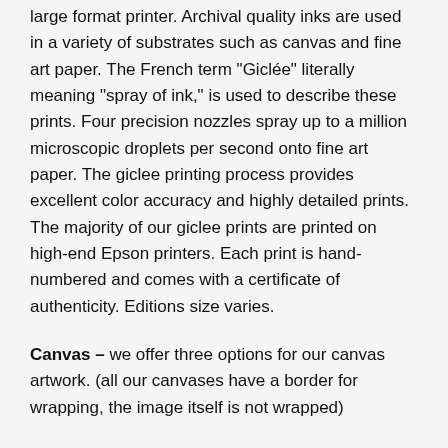large format printer. Archival quality inks are used in a variety of substrates such as canvas and fine art paper. The French term "Giclée" literally meaning "spray of ink," is used to describe these prints. Four precision nozzles spray up to a million microscopic droplets per second onto fine art paper. The giclee printing process provides excellent color accuracy and highly detailed prints. The majority of our giclee prints are printed on high-end Epson printers. Each print is hand-numbered and comes with a certificate of authenticity. Editions size varies.
Canvas – we offer three options for our canvas artwork. (all our canvases have a border for wrapping, the image itself is not wrapped)
Rolled – the canvases are unframed and ship rolled.
Stretched – the canvas is stretched and stapled on the back to a thin wooden frame (also known as a stretcher bar). A stretched canvas is ready for framing.